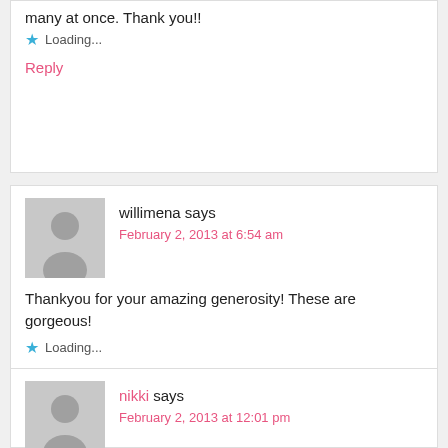many at once. Thank you!!
Loading...
Reply
willimena says
February 2, 2013 at 6:54 am
Thankyou for your amazing generosity! These are gorgeous!
Loading...
Reply
nikki says
February 2, 2013 at 12:01 pm
wow, thank you!!